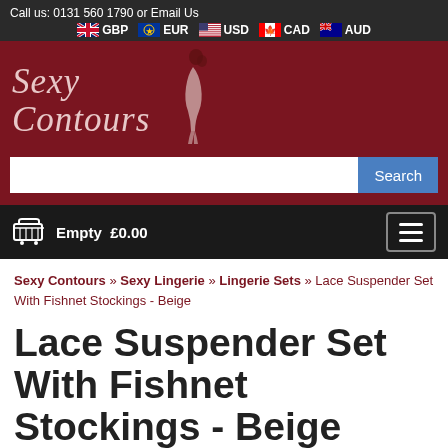Call us: 0131 560 1790 or Email Us | GBP EUR USD CAD AUD
[Figure (logo): Sexy Contours logo with cursive text and female silhouette on dark red background]
[Figure (screenshot): Search bar with Search button]
Empty £0.00
Sexy Contours » Sexy Lingerie » Lingerie Sets » Lace Suspender Set With Fishnet Stockings - Beige
Lace Suspender Set With Fishnet Stockings - Beige